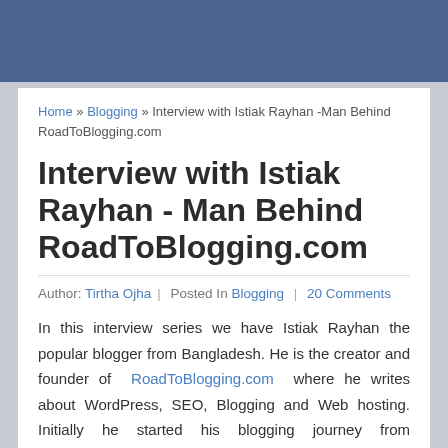Home » Blogging » Interview with Istiak Rayhan -Man Behind RoadToBlogging.com
Interview with Istiak Rayhan - Man Behind RoadToBlogging.com
Author: Tirtha Ojha | Posted In Blogging | 20 Comments
In this interview series we have Istiak Rayhan the popular blogger from Bangladesh. He is the creator and founder of RoadToBlogging.com where he writes about WordPress, SEO, Blogging and Web hosting. Initially he started his blogging journey from TechThumbs.com but